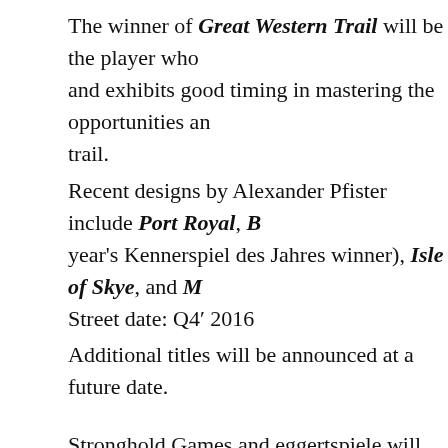The winner of Great Western Trail will be the player who and exhibits good timing in mastering the opportunities and trail.
Recent designs by Alexander Pfister include Port Royal, B year's Kennerspiel des Jahres winner), Isle of Skye, and M
Street date: Q4′ 2016
Additional titles will be announced at a future date.
Stronghold Games and eggertspiele will print these games Germany, the leading printer of hobby games in the world games from both companies be of the same great German also enable a virtually simultaneous worldwide release of "We are very excited by this Strategic Partnership with the company, eggertspiele," said Stephen Buonocore, Presider "This strengthens our commitment to bringing great game